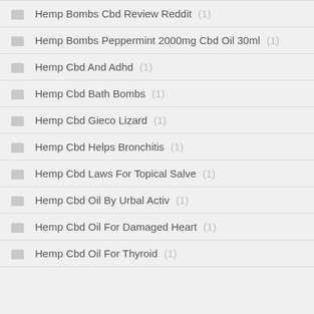Hemp Bombs Cbd Review Reddit (1)
Hemp Bombs Peppermint 2000mg Cbd Oil 30ml (1)
Hemp Cbd And Adhd (1)
Hemp Cbd Bath Bombs (1)
Hemp Cbd Gieco Lizard (1)
Hemp Cbd Helps Bronchitis (1)
Hemp Cbd Laws For Topical Salve (1)
Hemp Cbd Oil By Urbal Activ (1)
Hemp Cbd Oil For Damaged Heart (1)
Hemp Cbd Oil For Thyroid (1)